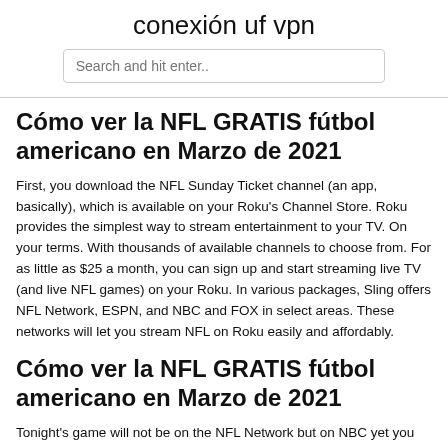conexión uf vpn
Cómo ver la NFL GRATIS fútbol americano en Marzo de 2021
First, you download the NFL Sunday Ticket channel (an app, basically), which is available on your Roku's Channel Store. Roku provides the simplest way to stream entertainment to your TV. On your terms. With thousands of available channels to choose from. For as little as $25 a month, you can sign up and start streaming live TV (and live NFL games) on your Roku. In various packages, Sling offers NFL Network, ESPN, and NBC and FOX in select areas. These networks will let you stream NFL on Roku easily and affordably.
Cómo ver la NFL GRATIS fútbol americano en Marzo de 2021
Tonight's game will not be on the NFL Network but on NBC yet you can find full coverage of the game and the 2019-2020